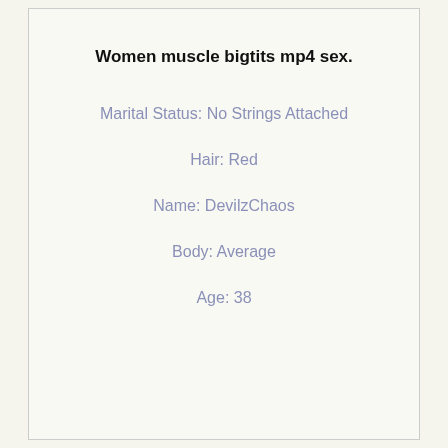Women muscle bigtits mp4 sex.
Marital Status: No Strings Attached
Hair: Red
Name: DevilzChaos
Body: Average
Age: 38